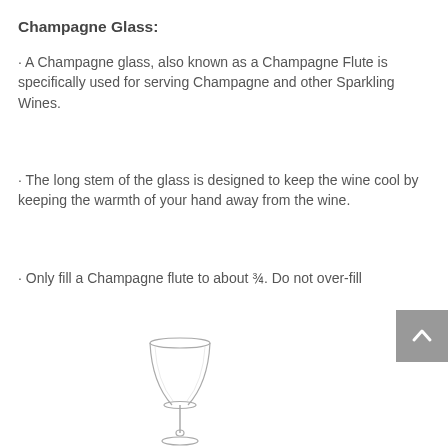Champagne Glass:
· A Champagne glass, also known as a Champagne Flute is specifically used for serving Champagne and other Sparkling Wines.
· The long stem of the glass is designed to keep the wine cool by keeping the warmth of your hand away from the wine.
· Only fill a Champagne flute to about ¾. Do not over-fill
[Figure (illustration): A champagne flute glass illustration, showing the tall narrow bowl, long stem, and base of a typical champagne glass.]